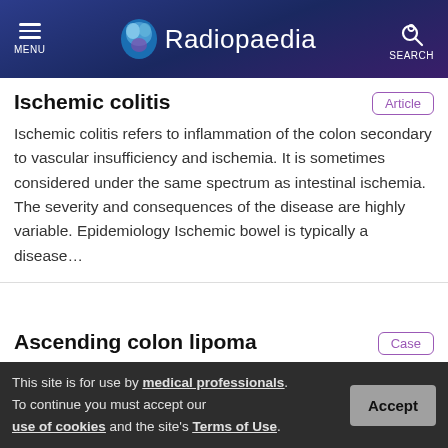Radiopaedia
Ischemic colitis
Ischemic colitis refers to inflammation of the colon secondary to vascular insufficiency and ischemia. It is sometimes considered under the same spectrum as intestinal ischemia. The severity and consequences of the disease are highly variable. Epidemiology Ischemic bowel is typically a disease...
Ascending colon lipoma
[Figure (photo): CT scan image of abdomen showing ascending colon lipoma]
Diagnosis certain
Assoc Prof Frank Gaillard
This site is for use by medical professionals. To continue you must accept our use of cookies and the site's Terms of Use.